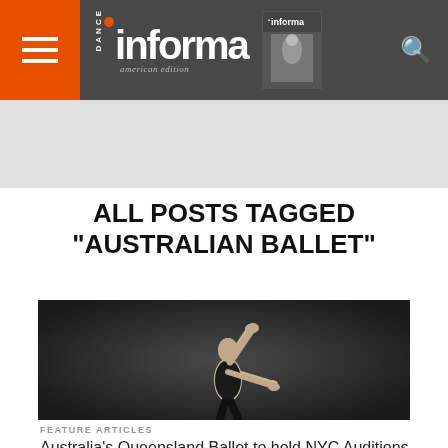Dance Informa — american edition
ALL POSTS TAGGED "AUSTRALIAN BALLET"
[Figure (photo): Ballet dancer in black clothing posed with one arm raised overhead against a dark background]
FEATURE ARTICLES
Australia's Queensland Ballet to hold NYC Auditions